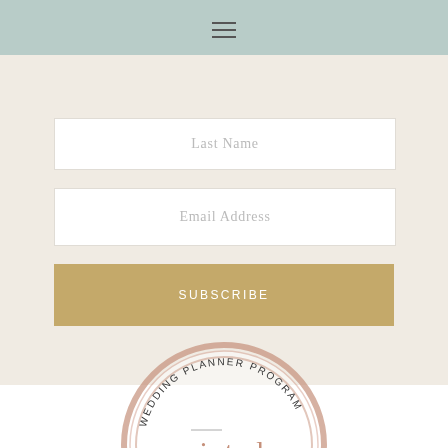[Figure (screenshot): Top navigation bar with sage/mint green background and hamburger menu icon (three horizontal lines)]
Last Name
Email Address
SUBSCRIBE
[Figure (logo): Minted Wedding Planner Program badge: circular badge with rose gold foil border, text 'WEDDING PLANNER PROGRAM' arcing along the top, 'minted.' in rose gold serif font in the center, and 'MEMBER SINCE 2015' arcing along the bottom]